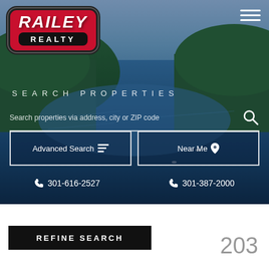[Figure (screenshot): Railey Realty website screenshot showing aerial lake and forest photo with navigation, search properties interface, and contact phone numbers]
RAILEY REALTY
SEARCH PROPERTIES
Search properties via address, city or ZIP code
Advanced Search
Near Me
301-616-2527
301-387-2000
REFINE SEARCH
203